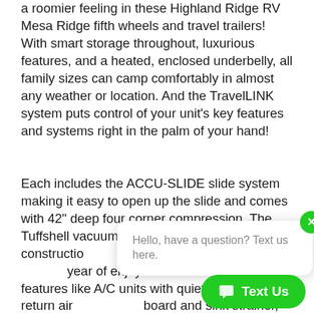a roomier feeling in these Highland Ridge RV Mesa Ridge fifth wheels and travel trailers! With smart storage throughout, luxurious features, and a heated, enclosed underbelly, all family sizes can camp comfortably in almost any weather or location. And the TravelLINK system puts control of your unit's key features and systems right in the palm of your hand!
Each includes the ACCU-SLIDE slide system making it easy to open up the slide and comes with 42" deep four corner compression. The Tuffshell vacuum bonded laminated constructi[on with] fiberglass [ensures many a] year of enjoyment. Convenient features like A/C units with quiet residential return air[, cutting] board and sink strainer, and USB po[rts in the] master bedroom will have you feeling right at [home while at the campground]...
[Figure (other): Chat popup widget with green close button (x) and text 'Hello, have a question? Text us here.' along with a green 'Text Us' button at the bottom right of the screen.]